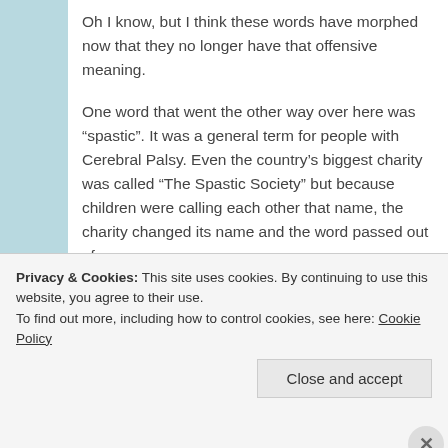Oh I know, but I think these words have morphed now that they no longer have that offensive meaning.

One word that went the other way over here was “spastic”. It was a general term for people with Cerebral Palsy. Even the country’s biggest charity was called “The Spastic Society” but because children were calling each other that name, the charity changed its name and the word passed out of use.
Privacy & Cookies: This site uses cookies. By continuing to use this website, you agree to their use.
To find out more, including how to control cookies, see here: Cookie Policy
Close and accept